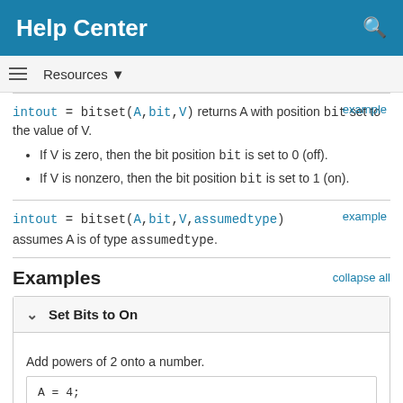Help Center
Resources ▼
intout = bitset(A,bit,V) returns A with position bit set to the value of V.
If V is zero, then the bit position bit is set to 0 (off).
If V is nonzero, then the bit position bit is set to 1 (on).
intout = bitset(A,bit,V,assumedtype) assumes A is of type assumedtype.
Examples
Set Bits to On
Add powers of 2 onto a number.
A = 4;
intout = bitset(A,4:6)